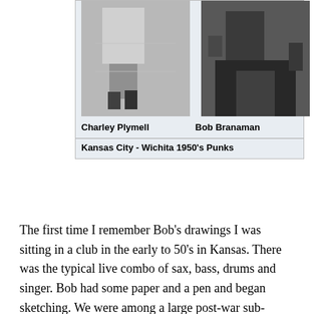[Figure (photo): Two black and white photographs side by side. Left photo shows Charley Plymell walking, wearing white pants and dark shoes. Right photo shows Bob Branaman in dark clothing. Caption below reads 'Charley Plymell' and 'Bob Branaman', with subtitle 'Kansas City - Wichita 1950’s Punks'.]
The first time I remember Bob’s drawings I was sitting in a club in the early to 50’s in Kansas. There was the typical live combo of sax, bass, drums and singer. Bob had some paper and a pen and began sketching. We were among a large post-war sub-culture that associated itself with drugs, whores, and jazz and cars. We saw a lot of each other and went to parties and clubs and enjoyed the